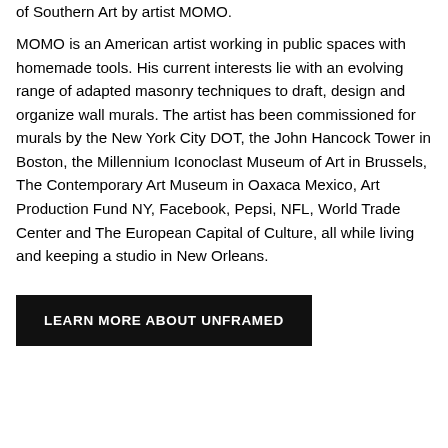of Southern Art by artist MOMO.
MOMO is an American artist working in public spaces with homemade tools. His current interests lie with an evolving range of adapted masonry techniques to draft, design and organize wall murals. The artist has been commissioned for murals by the New York City DOT, the John Hancock Tower in Boston, the Millennium Iconoclast Museum of Art in Brussels, The Contemporary Art Museum in Oaxaca Mexico, Art Production Fund NY, Facebook, Pepsi, NFL, World Trade Center and The European Capital of Culture, all while living and keeping a studio in New Orleans.
LEARN MORE ABOUT UNFRAMED